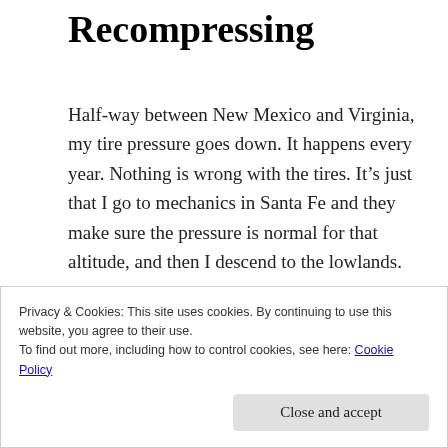Recompressing
Half-way between New Mexico and Virginia, my tire pressure goes down. It happens every year. Nothing is wrong with the tires. It’s just that I go to mechanics in Santa Fe and they make sure the pressure is normal for that altitude, and then I descend to the lowlands.
When I unpack in Virginia, I always find that my shampoo bottle and other plastic containers have collapsed inward, folding in around the empty
Privacy & Cookies: This site uses cookies. By continuing to use this website, you agree to their use.
To find out more, including how to control cookies, see here: Cookie Policy
Close and accept